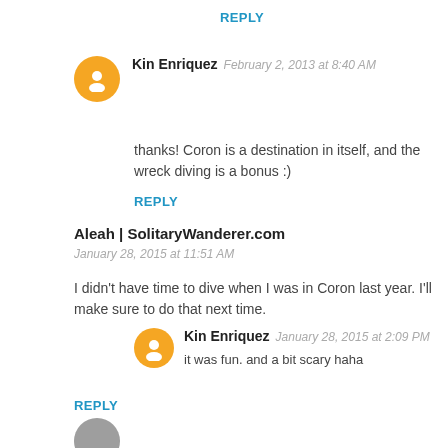REPLY
Kin Enriquez  February 2, 2013 at 8:40 AM
thanks! Coron is a destination in itself, and the wreck diving is a bonus :)
REPLY
Aleah | SolitaryWanderer.com  January 28, 2015 at 11:51 AM
I didn't have time to dive when I was in Coron last year. I'll make sure to do that next time.
Kin Enriquez  January 28, 2015 at 2:09 PM
it was fun. and a bit scary haha
REPLY